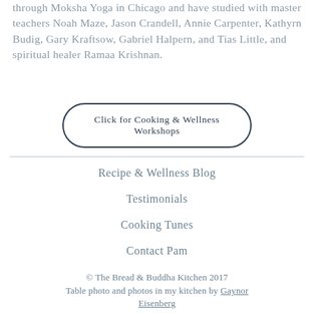through Moksha Yoga in Chicago and have studied with master teachers Noah Maze, Jason Crandell, Annie Carpenter, Kathyrn Budig, Gary Kraftsow, Gabriel Halpern, and Tias Little, and spiritual healer Ramaa Krishnan.
Click for Cooking & Wellness Workshops
Recipe & Wellness Blog
Testimonials
Cooking Tunes
Contact Pam
© The Bread & Buddha Kitchen 2017
Table photo and photos in my kitchen by Gaynor Eisenberg